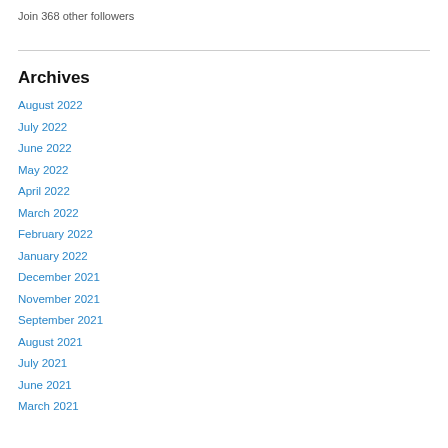Join 368 other followers
Archives
August 2022
July 2022
June 2022
May 2022
April 2022
March 2022
February 2022
January 2022
December 2021
November 2021
September 2021
August 2021
July 2021
June 2021
March 2021